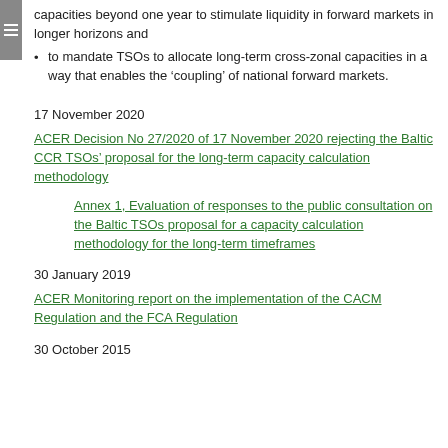capacities beyond one year to stimulate liquidity in forward markets in longer horizons and
to mandate TSOs to allocate long-term cross-zonal capacities in a way that enables the ‘coupling’ of national forward markets.
17 November 2020
ACER Decision No 27/2020 of 17 November 2020 rejecting the Baltic CCR TSOs’ proposal for the long-term capacity calculation methodology
Annex 1, Evaluation of responses to the public consultation on the Baltic TSOs proposal for a capacity calculation methodology for the long-term timeframes
30 January 2019
ACER Monitoring report on the implementation of the CACM Regulation and the FCA Regulation
30 October 2015